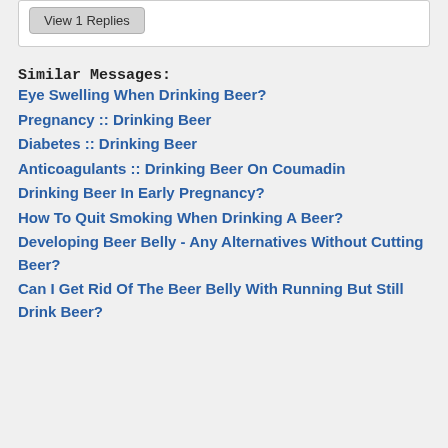View 1 Replies
Similar Messages:
Eye Swelling When Drinking Beer?
Pregnancy :: Drinking Beer
Diabetes :: Drinking Beer
Anticoagulants :: Drinking Beer On Coumadin
Drinking Beer In Early Pregnancy?
How To Quit Smoking When Drinking A Beer?
Developing Beer Belly - Any Alternatives Without Cutting Beer?
Can I Get Rid Of The Beer Belly With Running But Still Drink Beer?